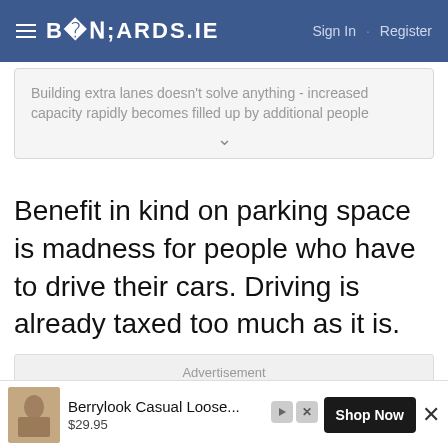BOARDS.IE  Sign In · Register
Building extra lanes doesn't solve anything - increased capacity rapidly becomes filled up by additional people
Benefit in kind on parking space is madness for people who have to drive their cars. Driving is already taxed too much as it is.
Advertisement
[Figure (photo): Bottom banner advertisement showing a clothing item (Berrylook Casual Loose...) priced at $29.95 with a Shop Now button]